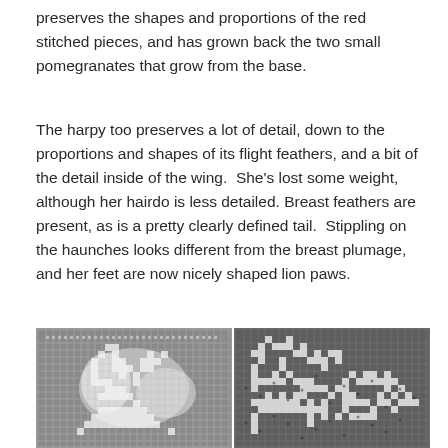preserves the shapes and proportions of the red stitched pieces, and has grown back the two small pomegranates that grow from the base.
The harpy too preserves a lot of detail, down to the proportions and shapes of its flight feathers, and a bit of the detail inside of the wing.  She's lost some weight, although her hairdo is less detailed. Breast feathers are present, as is a pretty clearly defined tail.  Stippling on the haunches looks different from the breast plumage, and her feet are now nicely shaped lion paws.
[Figure (photo): Two side-by-side black and white photographs of lace textile pieces showing intricate filet lace patterns with what appear to be harpy and decorative motifs]